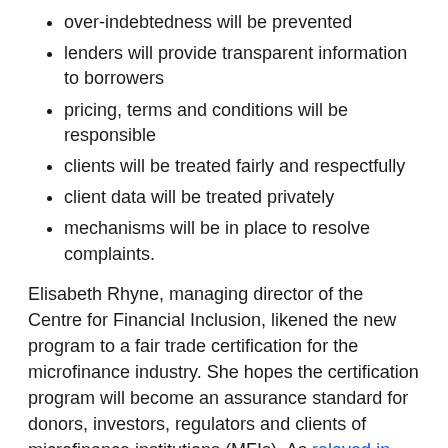over-indebtedness will be prevented
lenders will provide transparent information to borrowers
pricing, terms and conditions will be responsible
clients will be treated fairly and respectfully
client data will be treated privately
mechanisms will be in place to resolve complaints.
Elisabeth Rhyne, managing director of the Centre for Financial Inclusion, likened the new program to a fair trade certification for the microfinance industry. She hopes the certification program will become an assurance standard for donors, investors, regulators and clients of microfinance institutions (MFIs). As relayed in her Huffington Post blog, she believes that the CPPs represent “a moral touchstone, almost a Hippocratic Oath for financial services.”
The organization I work for, Oikocredit, is one of the world’s largest private funders to the microfinance industry with more than 850 partners in 67 countries. As such, we have a special responsibility to meet the highest standards of client protection and have been following the CPPs since 2008.